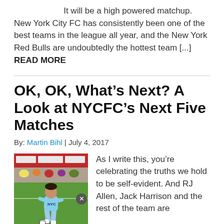It will be a high powered matchup. New York City FC has consistently been one of the best teams in the league all year, and the New York Red Bulls are undoubtedly the hottest team [...] READ MORE
OK, OK, What’s Next? A Look at NYCFC’s Next Five Matches
By: Martin Bihl | July 4, 2017
[Figure (photo): Soccer player in light blue NYCFC kit dribbling a ball on a green pitch, with crowd and red advertising hoardings in the background.]
As I write this, you’re celebrating the truths we hold to be self-evident. And RJ Allen, Jack Harrison and the rest of the team are enjoying the sites in lovely Vancouver ahead